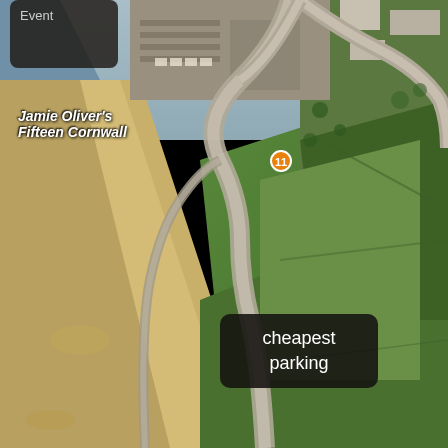[Figure (map): Aerial satellite map view of Watergate Bay area in Cornwall, UK. Shows coastal area with sandy beach on the left, winding road (Watergate Rd) running diagonally, green fields to the right, and buildings/car parks at the top. Labels indicate Jamie Oliver's Fifteen Cornwall restaurant, cheapest parking area, and road names.]
Event
Jamie Oliver's Fifteen Cornwall
cheapest parking
Watergate Rd
CoastPath